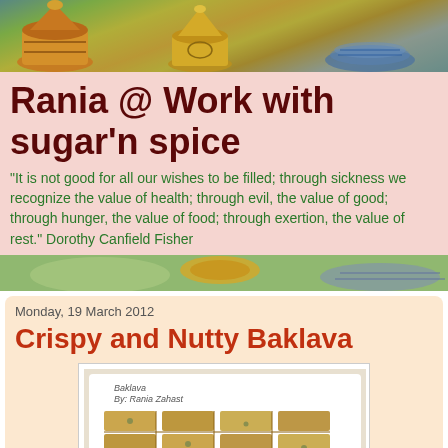[Figure (photo): Decorative photo of colorful pottery/tagines and ornamental items at the top header]
Rania @ Work with sugar'n spice
“It is not good for all our wishes to be filled; through sickness we recognize the value of health; through evil, the value of good; through hunger, the value of food; through exertion, the value of rest.” Dorothy Canfield Fisher
[Figure (photo): Decorative divider photo with pottery and decorative items]
Monday, 19 March 2012
Crispy and Nutty Baklava
[Figure (photo): Photo of baklava pieces arranged in a tray, labeled 'Baklava By: Rania Zahast']